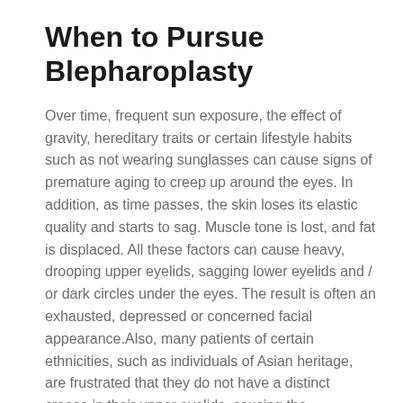When to Pursue Blepharoplasty
Over time, frequent sun exposure, the effect of gravity, hereditary traits or certain lifestyle habits such as not wearing sunglasses can cause signs of premature aging to creep up around the eyes. In addition, as time passes, the skin loses its elastic quality and starts to sag. Muscle tone is lost, and fat is displaced. All these factors can cause heavy, drooping upper eyelids, sagging lower eyelids and / or dark circles under the eyes. The result is often an exhausted, depressed or concerned facial appearance.Also, many patients of certain ethnicities, such as individuals of Asian heritage, are frustrated that they do not have a distinct crease in their upper eyelids, causing the appearance of “monolids.”When these developments occur, it might be time to pursue eyelid surgery. With